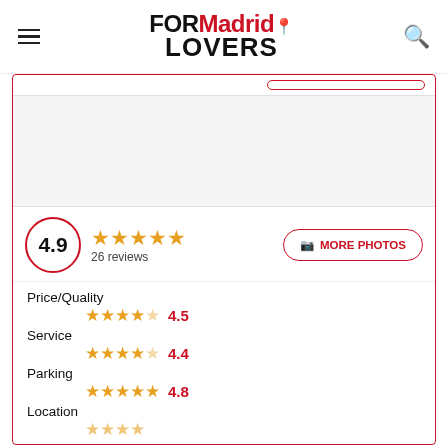FORMadrid LOVERS
[Figure (other): Photo placeholder area inside card]
4.9 — 26 reviews — ★★★★★
MORE PHOTOS button
Price/Quality ★★★★☆ 4.5
Service ★★★★☆ 4.4
Parking ★★★★★ 4.8
Location (partially visible)